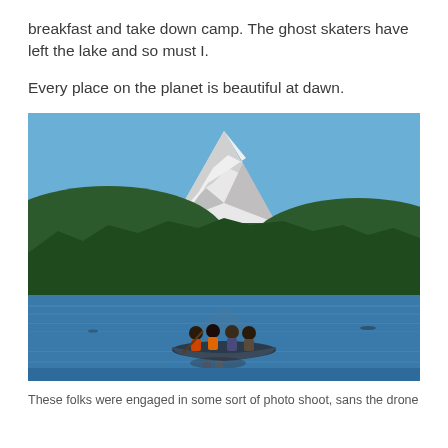breakfast and take down camp. The ghost skaters have left the lake and so must I.

Every place on the planet is beautiful at dawn.
[Figure (photo): A scenic photograph of a lake with people in a canoe in the foreground. In the background is a large snow-capped mountain (Mt. Hood or similar) rising above a dense evergreen forest. The sky is clear blue. The lake is calm with reflections of the people and boat.]
These folks were engaged in some sort of photo shoot, sans the drone